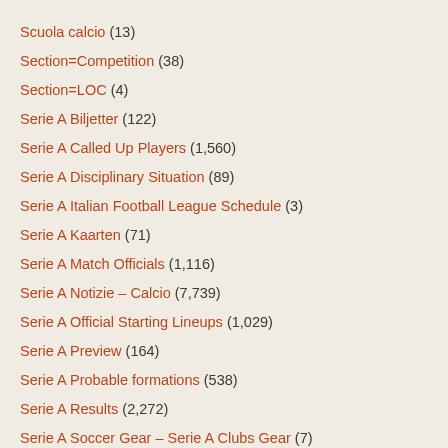Scuola calcio (13)
Section=Competition (38)
Section=LOC (4)
Serie A Biljetter (122)
Serie A Called Up Players (1,560)
Serie A Disciplinary Situation (89)
Serie A Italian Football League Schedule (3)
Serie A Kaarten (71)
Serie A Match Officials (1,116)
Serie A Notizie – Calcio (7,739)
Serie A Official Starting Lineups (1,029)
Serie A Preview (164)
Serie A Probable formations (538)
Serie A Results (2,272)
Serie A Soccer Gear – Serie A Clubs Gear (7)